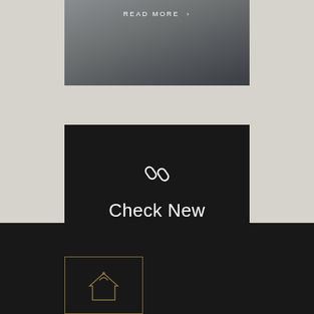[Figure (photo): Top portion of a fashion/lifestyle image card with a 'READ MORE >' link overlay in white text on a gray photographic background]
[Figure (infographic): Dark card with a chain link icon and text 'Check New Events' on a near-black background]
[Figure (logo): Footer section with a gold-bordered logo box containing a house/crown emblem on dark background]